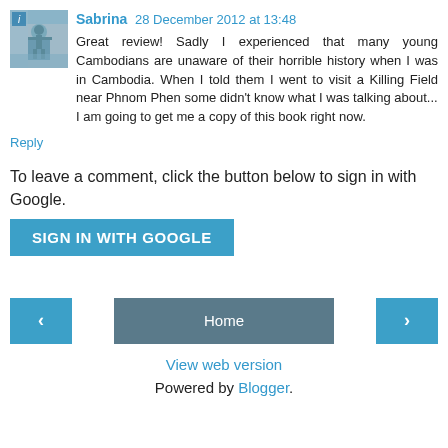Sabrina 28 December 2012 at 13:48
Great review! Sadly I experienced that many young Cambodians are unaware of their horrible history when I was in Cambodia. When I told them I went to visit a Killing Field near Phnom Phen some didn't know what I was talking about...
I am going to get me a copy of this book right now.
Reply
To leave a comment, click the button below to sign in with Google.
[Figure (other): Blue button labeled SIGN IN WITH GOOGLE]
[Figure (other): Navigation row with left arrow button, Home button, and right arrow button]
View web version
Powered by Blogger.